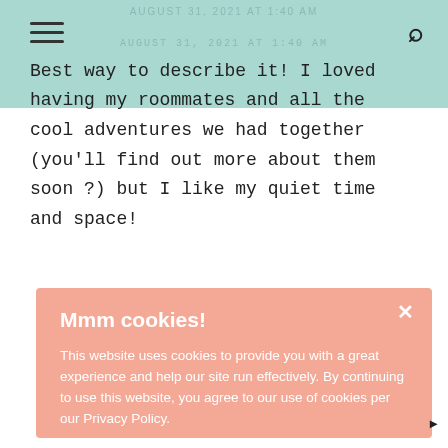AUGUST 31, 2021 AT 1:40 AM
Best way to describe it! I loved having my roommates and all the cool adventures we had together (you'll find out more about them soon ?) but I like my quiet time and space!
Mmm cookies!

This website uses cookies to provide you with a great experience and help our site run effectively. By continuing to use this website, you agree to our use of cookies per our Privacy Policy.

Learn more

Decline   Accept